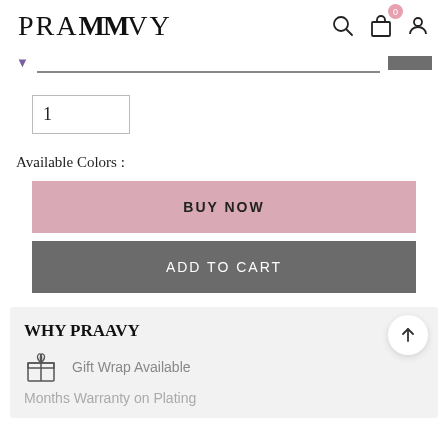PRAAVY
1
Available Colors :
BUY NOW
ADD TO CART
WHY PRAAVY
Gift Wrap Available
Months Warranty on Plating